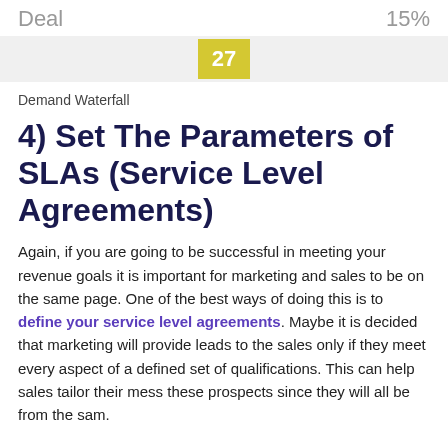| Deal | 15% |
| --- | --- |
|  | 27 |
Demand Waterfall
4) Set The Parameters of SLAs (Service Level Agreements)
Again, if you are going to be successful in meeting your revenue goals it is important for marketing and sales to be on the same page. One of the best ways of doing this is to define your service level agreements. Maybe it is decided that marketing will provide leads to the sales only if they meet every aspect of a defined set of qualifications. This can help sales tailor their mess these prospects since they will all be from the sam.